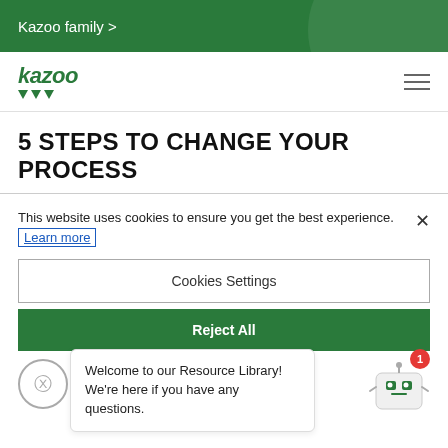Kazoo family >
[Figure (logo): Kazoo logo with green italic text and triangle dots below]
5 STEPS TO CHANGE YOUR PROCESS
This website uses cookies to ensure you get the best experience. Learn more
Cookies Settings
Reject All
Welcome to our Resource Library! We're here if you have any questions.